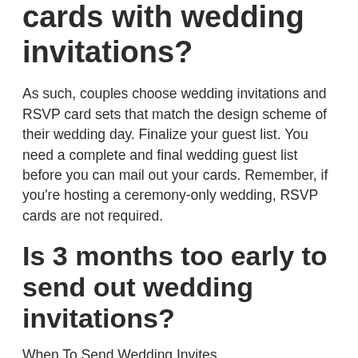cards with wedding invitations?
As such, couples choose wedding invitations and RSVP card sets that match the design scheme of their wedding day. Finalize your guest list. You need a complete and final wedding guest list before you can mail out your cards. Remember, if you're hosting a ceremony-only wedding, RSVP cards are not required.
Is 3 months too early to send out wedding invitations?
When To Send Wedding Invites